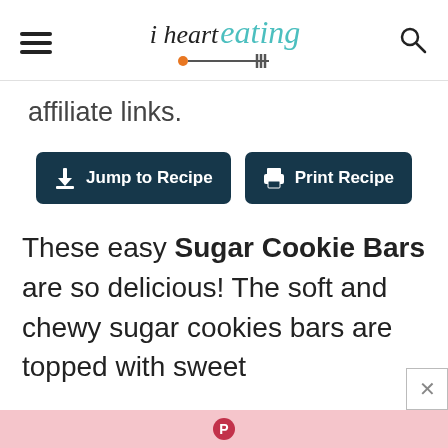i heart eating
affiliate links.
[Figure (other): Two buttons: 'Jump to Recipe' and 'Print Recipe' with dark navy background]
These easy Sugar Cookie Bars are so delicious! The soft and chewy sugar cookies bars are topped with sweet